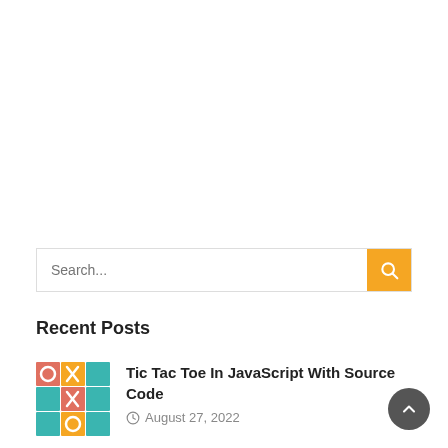[Figure (screenshot): Search bar with text field and orange search button]
Recent Posts
[Figure (illustration): Tic Tac Toe game thumbnail with teal, orange and pink colored grid]
Tic Tac Toe In JavaScript With Source Code
August 27, 2022